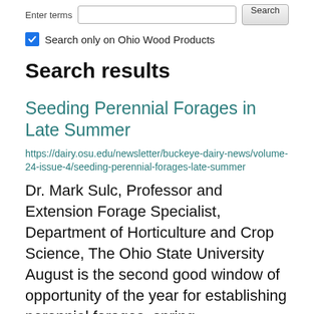Enter terms [search input] Search
Search only on Ohio Wood Products
Search results
Seeding Perennial Forages in Late Summer
https://dairy.osu.edu/newsletter/buckeye-dairy-news/volume-24-issue-4/seeding-perennial-forages-late-summer
Dr. Mark Sulc, Professor and Extension Forage Specialist, Department of Horticulture and Crop Science, The Ohio State University August is the second good window of opportunity of the year for establishing perennial forages, spring